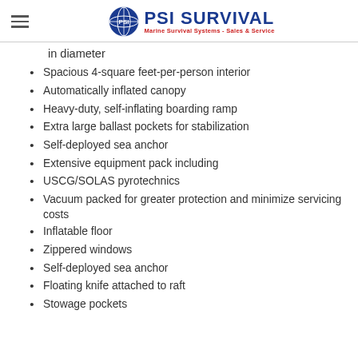PSI SURVIVAL - Marine Survival Systems - Sales & Service
in diameter
Spacious 4-square feet-per-person interior
Automatically inflated canopy
Heavy-duty, self-inflating boarding ramp
Extra large ballast pockets for stabilization
Self-deployed sea anchor
Extensive equipment pack including
USCG/SOLAS pyrotechnics
Vacuum packed for greater protection and minimize servicing costs
Inflatable floor
Zippered windows
Self-deployed sea anchor
Floating knife attached to raft
Stowage pockets